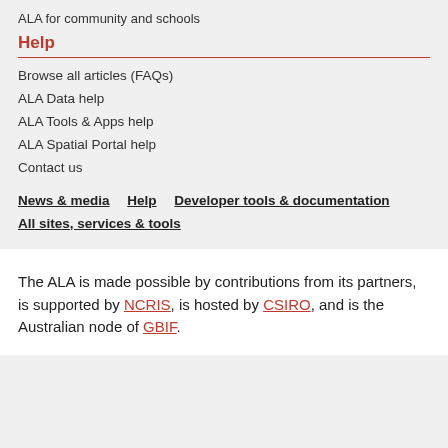ALA for community and schools
Help
Browse all articles (FAQs)
ALA Data help
ALA Tools & Apps help
ALA Spatial Portal help
Contact us
News & media    Help    Developer tools & documentation
All sites, services & tools
The ALA is made possible by contributions from its partners, is supported by NCRIS, is hosted by CSIRO, and is the Australian node of GBIF.